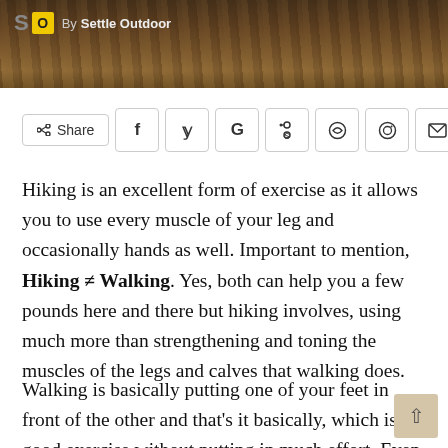[Figure (photo): Hero banner image showing dried grass/straw with warm brown tones, with 'Settle Outdoor' logo and byline overlaid in top left]
[Figure (infographic): Social share bar with Share button and social media icons: Facebook, Twitter, Google, Reddit, WhatsApp, Pinterest, Email]
Hiking is an excellent form of exercise as it allows you to use every muscle of your leg and occasionally hands as well. Important to mention, Hiking ≠ Walking. Yes, both can help you a few pounds here and there but hiking involves, using much more than strengthening and toning the muscles of the legs and calves that walking does.
Walking is basically putting one of your feet in front of the other and that's it basically, which is a good exercise without putting in much effort. Even when